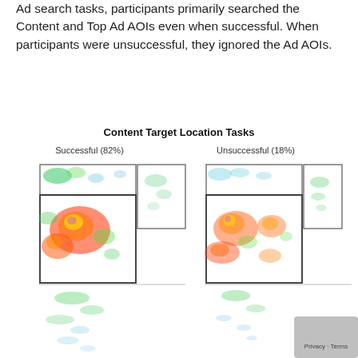Ad search tasks, participants primarily searched the Content and Top Ad AOIs even when successful. When participants were unsuccessful, they ignored the Ad AOIs.
[Figure (other): Heatmap figure titled 'Content Target Location Tasks' showing two side-by-side eye-tracking heatmaps: Successful (82%) on the left with bright red/yellow/green hotspots concentrated in the content area boxes, and Unsuccessful (18%) on the right with more diffuse red/orange/green hotspots. Both show rectangular AOI outlines overlaid on heatmap data extending downward.]